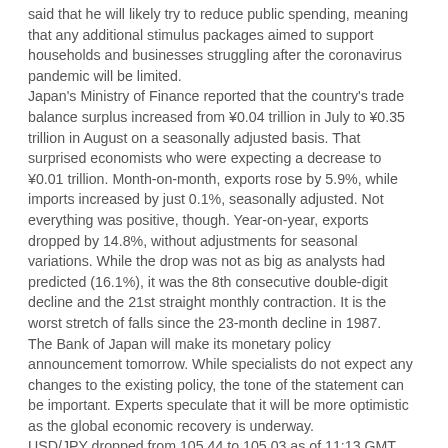said that he will likely try to reduce public spending, meaning that any additional stimulus packages aimed to support households and businesses struggling after the coronavirus pandemic will be limited. Japan's Ministry of Finance reported that the country's trade balance surplus increased from ¥0.04 trillion in July to ¥0.35 trillion in August on a seasonally adjusted basis. That surprised economists who were expecting a decrease to ¥0.01 trillion. Month-on-month, exports rose by 5.9%, while imports increased by just 0.1%, seasonally adjusted. Not everything was positive, though. Year-on-year, exports dropped by 14.8%, without adjustments for seasonal variations. While the drop was not as big as analysts had predicted (16.1%), it was the 8th consecutive double-digit decline and the 21st straight monthly contraction. It is the worst stretch of falls since the 23-month decline in 1987. The Bank of Japan will make its monetary policy announcement tomorrow. While specialists do not expect any changes to the existing policy, the tone of the statement can be important. Experts speculate that it will be more optimistic as the global economic recovery is underway. USD/JPY dropped from 105.44 to 105.03 as of 11:13 GMT today. EUR/JPY fell from 125.01 to 124.66. GBP/JPY was up from 135.88 to 136.21, bouncing from the session minimum of 135.55. If you have any questions, comments, or opinions regarding the Japanese Yen, feel free to post them using the commentary form below.